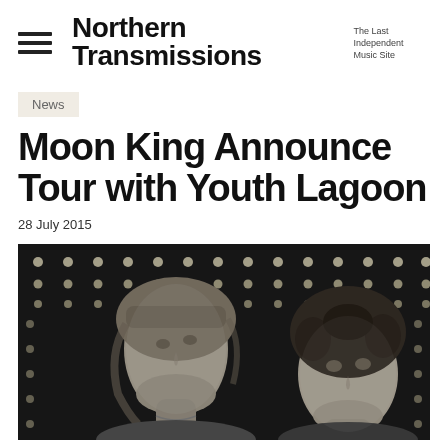Northern Transmissions — The Last Independent Music Site
News
Moon King Announce Tour with Youth Lagoon
28 July 2015
[Figure (photo): Black and white photograph of two musicians (a woman with wavy hair on the left and a man with curly dark hair on the right) looking upward, with rows of stage lights in the background]